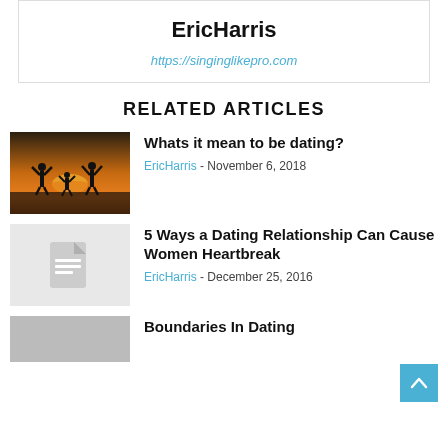EricHarris
https://singinglikepro.com
RELATED ARTICLES
[Figure (photo): Silhouette of three people jumping at sunset on a beach]
Whats it mean to be dating?
EricHarris - November 6, 2018
[Figure (illustration): Gray placeholder image with document/file icon]
5 Ways a Dating Relationship Can Cause Women Heartbreak
EricHarris - December 25, 2016
Boundaries In Dating